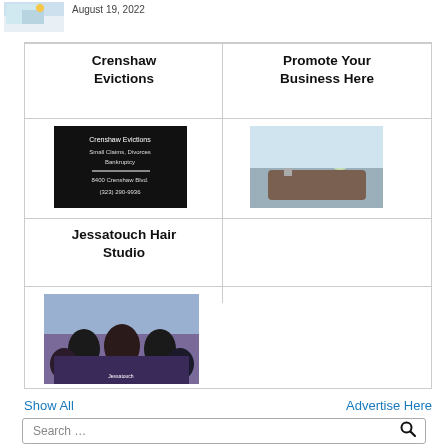[Figure (photo): Partial view of person working at laptop, top-left corner]
August 19, 2022
Crenshaw Evictions
Promote Your Business Here
[Figure (photo): Crenshaw Evictions advertisement: Small Claims, Divorces, Bankruptcy. 8400 Crenshaw Blvd. (323) 290-9936]
[Figure (photo): Photo of a copper farmhouse kitchen sink with faucet and flowers in background]
Jessatouch Hair Studio
[Figure (photo): Group photo of Jessatouch Hair Studio staff wearing purple/black shirts]
Show All
Advertise Here
Search …